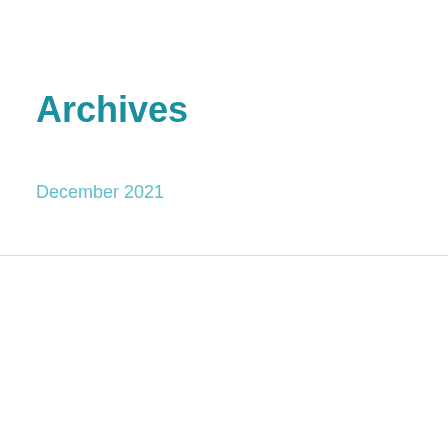Archives
December 2021
We use cookies on our website to give you the most relevant experience by remembering your preferences and repeat visits. By clicking "Accept All", you consent to the use of ALL the cookies. However, you may visit "Cookie Settings" to provide a controlled consent.
Cookie Settings
Accept All